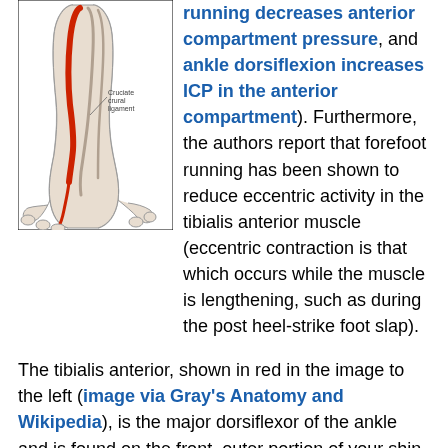[Figure (illustration): Anatomical illustration of the lower leg and foot showing muscles and tendons, with the tibialis anterior muscle highlighted in red. Image from Gray's Anatomy via Wikipedia.]
running decreases anterior compartment pressure, and ankle dorsiflexion increases ICP in the anterior compartment). Furthermore, the authors report that forefoot running has been shown to reduce eccentric activity in the tibialis anterior muscle (eccentric contraction is that which occurs while the muscle is lengthening, such as during the post heel-strike foot slap).
The tibialis anterior, shown in red in the image to the left (image via Gray's Anatomy and Wikipedia), is the major dorsiflexor of the ankle and is found on the front, outer portion of your shin (it is the largest muscle of the anterior compartment; other muscles in the compartment include those that extend your toes upward). The idea is that by having patients with CECS adopt a forefoot striking running style, they would reduce pressure in the anterior compartment where this muscle is located, reduce eccentric